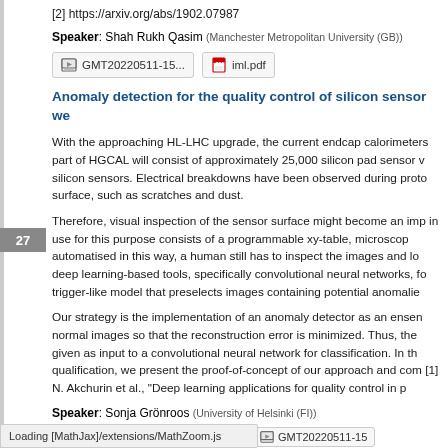[2] https://arxiv.org/abs/1902.07987
Speaker: Shah Rukh Qasim (Manchester Metropolitan University (GB))
[Figure (other): File attachment buttons: GMT20220511-15... and iml.pdf]
Anomaly detection for the quality control of silicon sensor we...
With the approaching HL-LHC upgrade, the current endcap calorimeters part of HGCAL will consist of approximately 25,000 silicon pad sensor v silicon sensors. Electrical breakdowns have been observed during proto surface, such as scratches and dust.
Therefore, visual inspection of the sensor surface might become an im in use for this purpose consists of a programmable xy-table, microscop automatised in this way, a human still has to inspect the images and lo deep learning-based tools, specifically convolutional neural networks, fo trigger-like model that preselects images containing potential anomalie
Our strategy is the implementation of an anomaly detector as an ensen normal images so that the reconstruction error is minimized. Thus, the given as input to a convolutional neural network for classification. In th qualification, we present the proof-of-concept of our approach and com [1] N. Akchurin et al., "Deep learning applications for quality control in p
Speaker: Sonja Grönroos (University of Helsinki (FI))
[Figure (other): Loading [MathJax]/extensions/MathZoom.js status bar and file button GMT20220511-15]